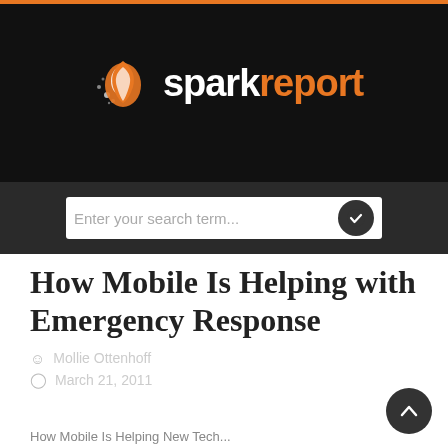[Figure (logo): sparkreport logo with flame icon on black background]
[Figure (other): Search bar with placeholder text 'Enter your search term...' and a dark circular checkmark button]
How Mobile Is Helping with Emergency Response
Mollie Ottenhoff
March 21, 2011
How Mobile Is Helping Tech...